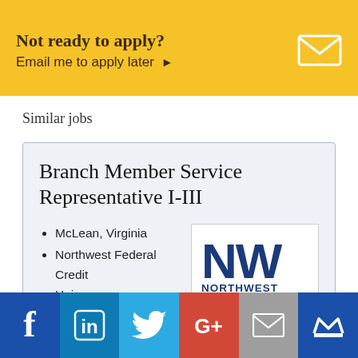Not ready to apply? Email me to apply later ▶
Similar jobs
Branch Member Service Representative I-III
McLean, Virginia
Northwest Federal Credit Union
[Figure (logo): Northwest Federal Credit Union logo — NW letters in dark blue with 'NORTHWEST FEDERAL CREDIT UNION' text below]
19 days ago | Save
[Figure (infographic): Social sharing bar with icons: Facebook, LinkedIn, Twitter, Google+, Email, Crown/bookmark]